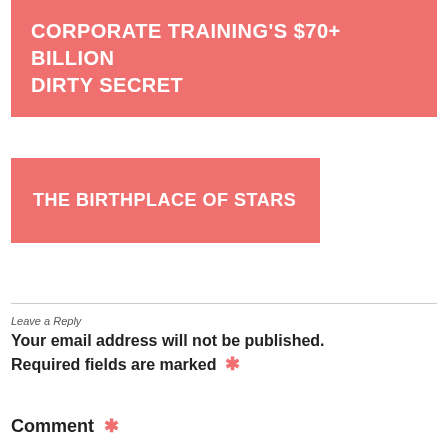CORPORATE TRAINING'S $70+ BILLION DIRTY SECRET
THE BIRTHPLACE OF STARS
Leave a Reply
Your email address will not be published. Required fields are marked *
Comment *